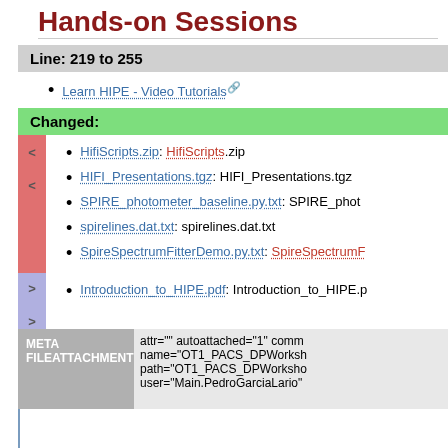Hands-on Sessions
Line: 219 to 255
Learn HIPE - Video Tutorials
Changed:
HifiScripts.zip: HifiScripts.zip
HIFI_Presentations.tgz: HIFI_Presentations.tgz
SPIRE_photometer_baseline.py.txt: SPIRE_phot...
spirelines.dat.txt: spirelines.dat.txt
SpireSpectrumFitterDemo.py.txt: SpireSpectrumF...
Introduction_to_HIPE.pdf: Introduction_to_HIPE.p...
| META FILEATTACHMENT |  |
| --- | --- |
|  | attr="" autoattached="1" comm
name="OT1_PACS_DPWorksh...
path="OT1_PACS_DPWorksho
user="Main.PedroGarciaLario" |